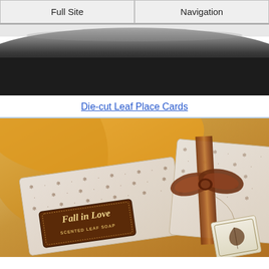Full Site | Navigation
[Figure (photo): Dark curved surface, partial product hero photo at top (out of frame)]
Die-cut Leaf Place Cards
[Figure (photo): Fall in Love Scented Leaf Soap product boxes wrapped in white and brown snowflake-patterned paper with a brown satin ribbon bow, on a warm golden background]